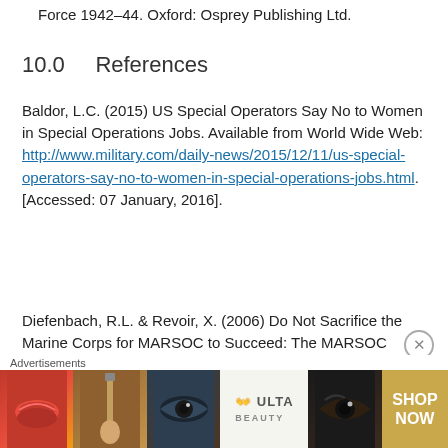Force 1942–44. Oxford: Osprey Publishing Ltd.
10.0    References
Baldor, L.C. (2015) US Special Operators Say No to Women in Special Operations Jobs. Available from World Wide Web: http://www.military.com/daily-news/2015/12/11/us-special-operators-say-no-to-women-in-special-operations-jobs.html. [Accessed: 07 January, 2016].
Diefenbach, R.L. & Revoir, X. (2006) Do Not Sacrifice the Marine Corps for MARSOC to Succeed: The MARSOC Closed Loop Personnel Policy Proposal. Available from World Wide Web: http://www.dtic.mil/cgi-bin/GetTRDoc?
[Figure (other): Advertisement banner for ULTA Beauty showing makeup-related imagery with 'SHOP NOW' call to action]